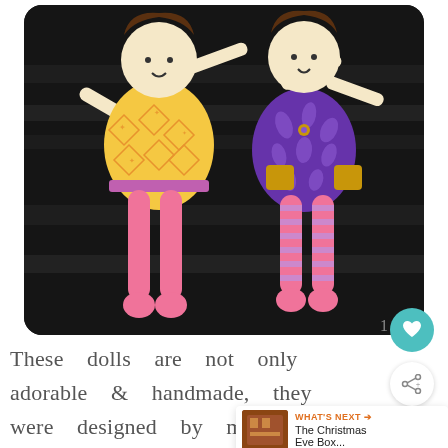[Figure (photo): Two handmade fabric dolls sitting on a dark wooden surface. Left doll wears a yellow patterned dress with pink legs. Right doll wears a purple leaf-patterned dress with striped pink and purple stockings. Both have brown yarn hair.]
These dolls are not only adorable & handmade, they were designed by me!
Poppy has a line of dolls &